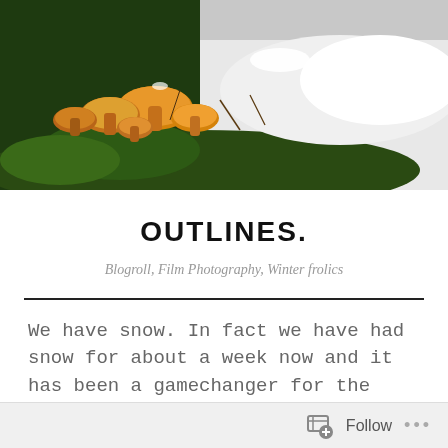[Figure (photo): Photograph of orange/golden mushrooms growing on a log or rock partially covered with snow and moss, in a winter forest setting.]
OUTLINES.
Blogroll, Film Photography, Winter frolics
We have snow. In fact we have had snow for about a week now and it has been a gamechanger for the winter. Not only does this feel like a real winter now, but